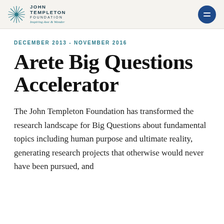[Figure (logo): John Templeton Foundation logo with starburst icon and text 'JOHN TEMPLETON FOUNDATION - Inspiring Awe & Wonder']
December 2013 - November 2016
Arete Big Questions Accelerator
The John Templeton Foundation has transformed the research landscape for Big Questions about fundamental topics including human purpose and ultimate reality, generating research projects that otherwise would never have been pursued, and